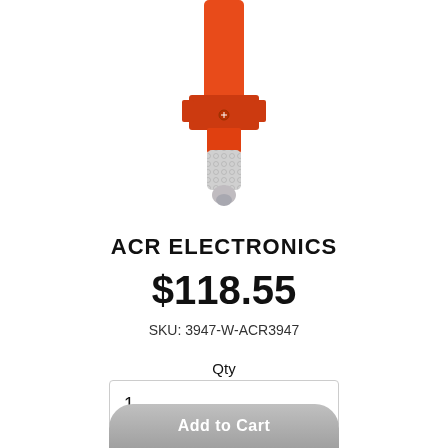[Figure (photo): Orange ACR Electronics emergency beacon/strobe light device with red/orange body and reflective silver tip, shown against white background, cropped at top]
ACR ELECTRONICS
$118.55
SKU: 3947-W-ACR3947
Qty
1
Add to Cart